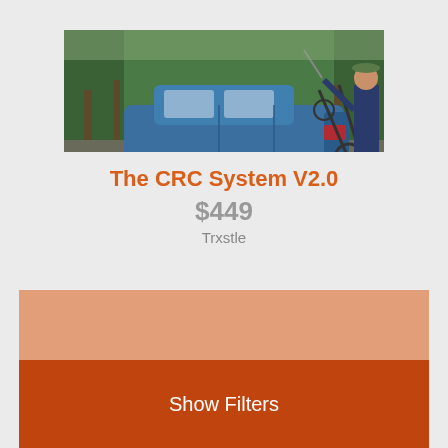[Figure (photo): A blue hatchback car with a bicycle mounted on the rear hitch rack, with a person standing beside it in a forested outdoor setting.]
The CRC System V2.0
$449
Trxstle
Show Filters